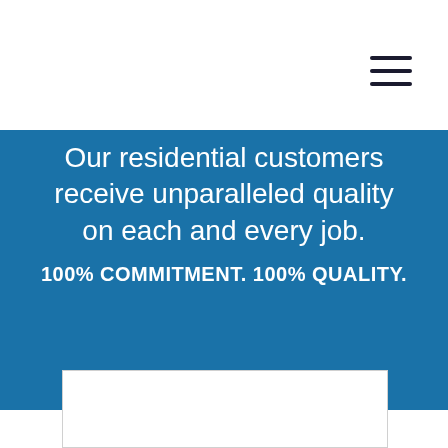[Figure (other): Hamburger menu icon (three horizontal lines) in upper right corner]
Our residential customers receive unparalleled quality on each and every job.
100% COMMITMENT. 100% QUALITY.
[Figure (photo): White rectangular image placeholder with light grey border at bottom of page]